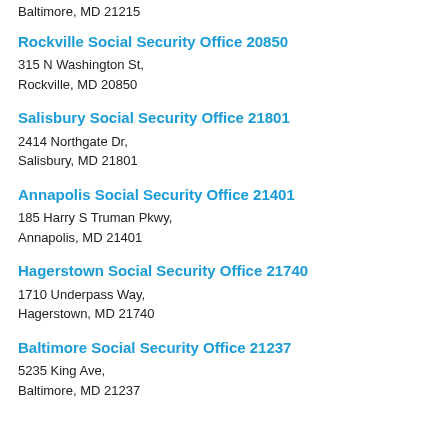Baltimore, MD 21215
Rockville Social Security Office 20850
315 N Washington St,
Rockville, MD 20850
Salisbury Social Security Office 21801
2414 Northgate Dr,
Salisbury, MD 21801
Annapolis Social Security Office 21401
185 Harry S Truman Pkwy,
Annapolis, MD 21401
Hagerstown Social Security Office 21740
1710 Underpass Way,
Hagerstown, MD 21740
Baltimore Social Security Office 21237
5235 King Ave,
Baltimore, MD 21237